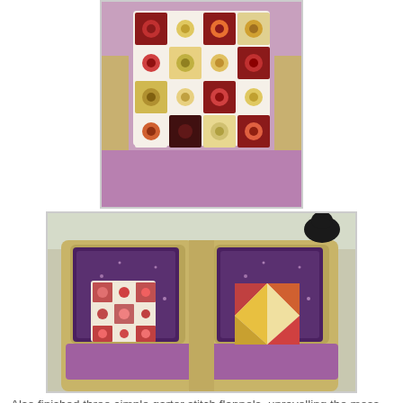[Figure (photo): Crocheted granny square cushion placed on a purple/pink cushioned wicker chair seat, photographed from above.]
[Figure (photo): Two wicker armchairs with purple cushion seats, each with decorative cushions - the left chair has a crocheted granny square cushion and a sparkly dark purple cushion, the right chair has a patchwork cushion and a sparkly dark purple cushion.]
Also finished three simple garter stitch flannels, unravelling the moss stitch rectangular ones (photo in earlier blog).
[Figure (photo): Close-up of wicker chair back with what appears to be a light-colored knitted or woven textile item draped over it.]